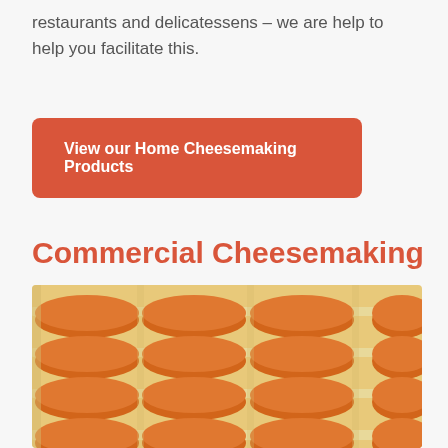restaurants and delicatessens – we are help to help you facilitate this.
View our Home Cheesemaking Products
Commercial Cheesemaking
[Figure (photo): Wheels of orange wax-coated cheese stacked on wooden shelves in rows, photographed from the front.]